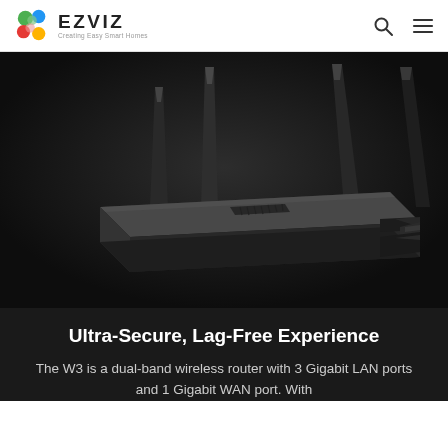EZVIZ — Creating Easy Smart Homes
[Figure (photo): EZVIZ W3 dual-band wireless router with 4 external antennas, black color, on dark background]
Ultra-Secure, Lag-Free Experience
The W3 is a dual-band wireless router with 3 Gigabit LAN ports and 1 Gigabit WAN port. With